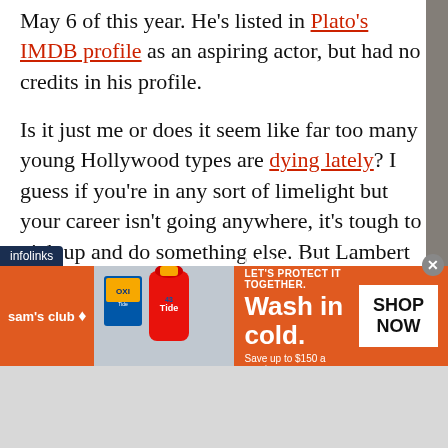May 6 of this year. He's listed in Plato's IMDB profile as an aspiring actor, but had no credits in his profile.
Is it just me or does it seem like far too many young Hollywood types are dying lately? I guess if you're in any sort of limelight but your career isn't going anywhere, it's tough to pick up and do something else. But Lambert appears to have been troubled a long time, since his mother's death when he was just a teen.
The video below is an audio clip taped on the Howard Stern show the day before Plato's overdose.
[Figure (infographic): Sam's Club advertisement for Tide detergent: orange background with Tide product images, text 'IT'S OUR HOME. LET'S PROTECT IT TOGETHER. Wash in cold. Save up to $150 a year*', white SHOP NOW button. Infolinks label in top-left corner.]